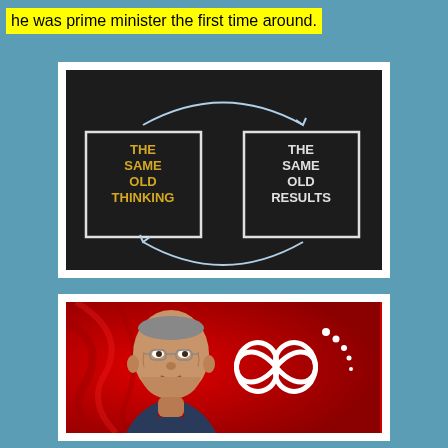he was prime minister the first time around.
[Figure (illustration): Chalkboard diagram showing two boxes connected by circular arrows: 'THE SAME OLD THINKING' on the left and 'THE SAME OLD RESULTS' on the right, illustrating a cycle of repetitive thinking and outcomes.]
[Figure (photo): Photo of an elderly Asian man (Mahathir Mohamad, former Prime Minister of Malaysia) in front of a red fabric background, alongside a white floral/knot logo (Parti Pribumi Bersatu Malaysia logo).]